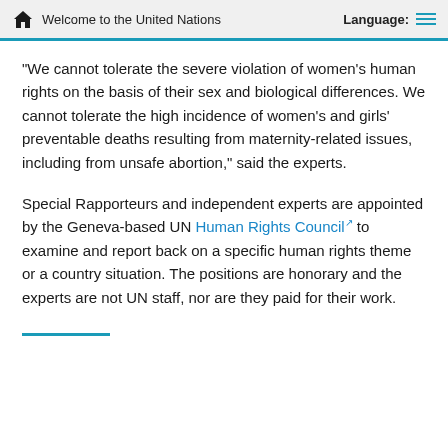Welcome to the United Nations   Language:
“We cannot tolerate the severe violation of women’s human rights on the basis of their sex and biological differences. We cannot tolerate the high incidence of women’s and girls’ preventable deaths resulting from maternity-related issues, including from unsafe abortion,” said the experts.
Special Rapporteurs and independent experts are appointed by the Geneva-based UN Human Rights Council to examine and report back on a specific human rights theme or a country situation. The positions are honorary and the experts are not UN staff, nor are they paid for their work.